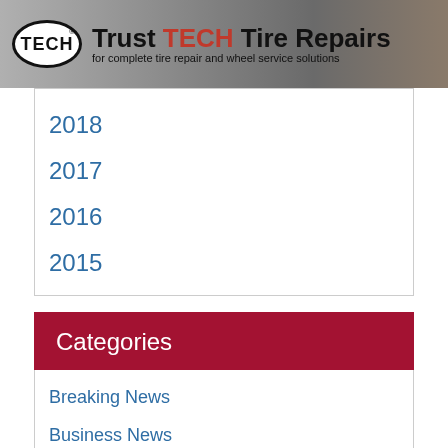[Figure (logo): TECH tire repair brand banner with oval TECH logo and tagline 'Trust TECH Tire Repairs for complete tire repair and wheel service solutions']
2018
2017
2016
2015
Categories
Breaking News
Business News
CSR
Events and Anniversaries